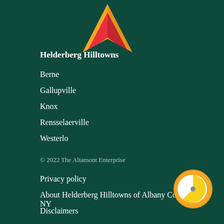[Figure (logo): Red and yellow arrow/navigation logo pointing upward]
Helderberg Hilltowns
Berne
Gallupville
Knox
Rensselaerville
Westerlo
© 2022 The Altamont Enterprise
Privacy policy
About Helderberg Hilltowns of Albany County, NY
Disclaimers
[Figure (other): Cookie consent icon — circular orange ring with white and yellow pie-chart style inner circle and a small dot in the center]